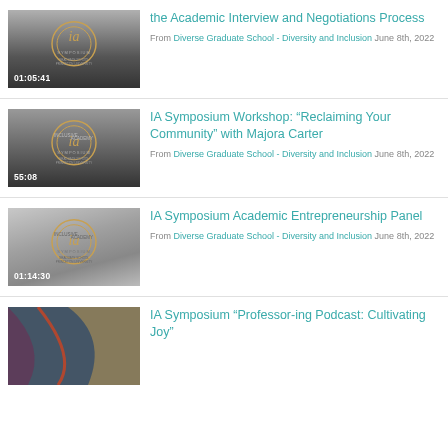[Figure (screenshot): Video thumbnail with IA Symposium logo, duration 01:05:41]
the Academic Interview and Negotiations Process
From Diverse Graduate School - Diversity and Inclusion June 8th, 2022
[Figure (screenshot): Video thumbnail with Inclusive Academy Symposium logo, duration 55:08]
IA Symposium Workshop: “Reclaiming Your Community” with Majora Carter
From Diverse Graduate School - Diversity and Inclusion June 8th, 2022
[Figure (screenshot): Video thumbnail with Inclusive Academy Symposium logo, duration 01:14:30]
IA Symposium Academic Entrepreneurship Panel
From Diverse Graduate School - Diversity and Inclusion June 8th, 2022
[Figure (screenshot): Video thumbnail partial view, colorful abstract background]
IA Symposium “Professor-ing Podcast: Cultivating Joy”